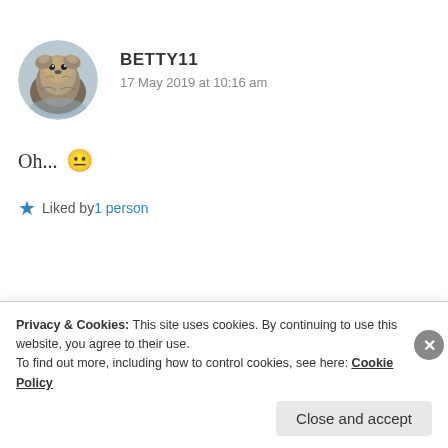[Figure (photo): Circular avatar photo of an otter]
BETTY11
17 May 2019 at 10:16 am
Oh... 😐
★ Liked by 1 person
Advertisements
Privacy & Cookies: This site uses cookies. By continuing to use this website, you agree to their use.
To find out more, including how to control cookies, see here: Cookie Policy
Close and accept